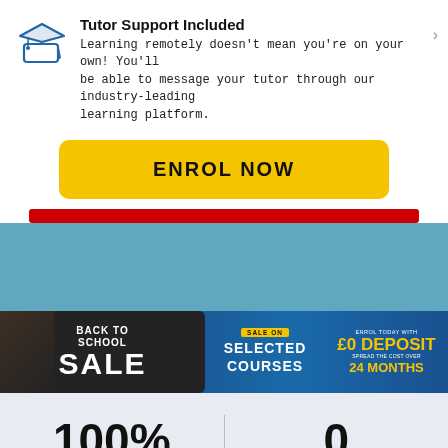Tutor Support Included
Learning remotely doesn't mean you're on your own! You'll be able to message your tutor through our industry-leading learning platform.
ENROL NOW
[Figure (screenshot): Back To School Sale banner with pencils/scissors, 'SALE ON SELECTED COURSES', 'ENROL TODAY WITH £0 DEPOSIT SPREAD THE COST OVER 24 MONTHS']
100% online learning
0 units